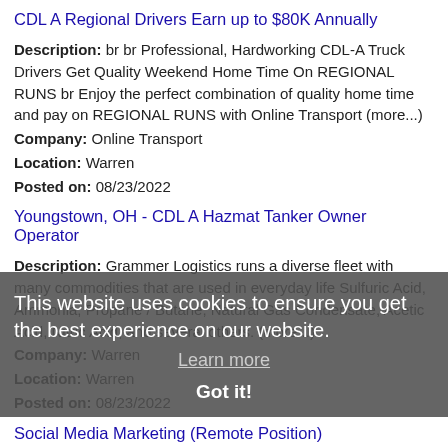CDL A Regional Drivers Earn up to $80K Annually
Description: br br Professional, Hardworking CDL-A Truck Drivers Get Quality Weekend Home Time On REGIONAL RUNS br Enjoy the perfect combination of quality home time and pay on REGIONAL RUNS with Online Transport (more...)
Company: Online Transport
Location: Warren
Posted on: 08/23/2022
Youngstown, OH - CDL A Hazmat Tanker Owner Operator
Description: Grammer Logistics runs a diverse fleet with many commodities that are used in everyday life Sulfuric Acid, Ammonia, Propane / Butane, Natural Gas Condensate, Acetic Acid, Nitric Acid, and several others. (more...)
Company: Warren
Location: Warren
Posted on: 08/23/2022
Social Media Marketing (Remote Position)
Description: Full time or part-time positions available from home. Apply today, start tomorrow. br Social media has become one the most successful forms of marketing today. Fortune 500 companies such as Amazon, (more...)
Company: Latest Jobs Today